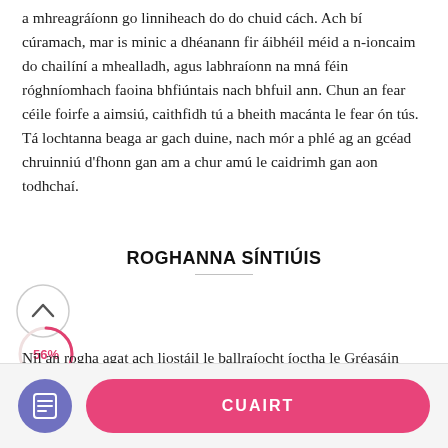a mhreagráíonn go linniheach do do chuid cách. Ach bí cúramach, mar is minic a dhéanann fir áibhéil méid a n-ioncaim do chailíní a mhealladh, agus labhraíonn na mná féin róghníomhach faoina bhfiúntais nach bhfuil ann. Chun an fear céile foirfe a aimsiú, caithfidh tú a bheith macánta le fear ón tús. Tá lochtanna beaga ar gach duine, nach mór a phlé ag an gcéad chruinniú d'fhonn gan am a chur amú le caidrimh gan aon todhchaí.
ROGHANNA SÍNTIÚIS
[Figure (infographic): Up arrow button (chevron up) inside a circle, white background with light grey border]
[Figure (infographic): Circular progress indicator showing 56% in red/pink color]
Níl an rogha agat ach liostáil le ballraíocht íoctha le Gréasáin SugarDaddie. Is cosúil go bhfaighidh tú do bhrionglóid Sugar Daddie, caithfidh tú
[Figure (infographic): Purple circle icon with a document/list icon inside (bottom navigation bar icon)]
CUAIRT